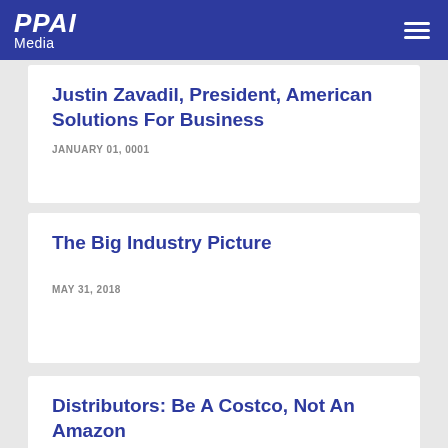PPAI Media
Justin Zavadil, President, American Solutions For Business
JANUARY 01, 0001
The Big Industry Picture
MAY 31, 2018
Distributors: Be A Costco, Not An Amazon
JUNE 01, 2018